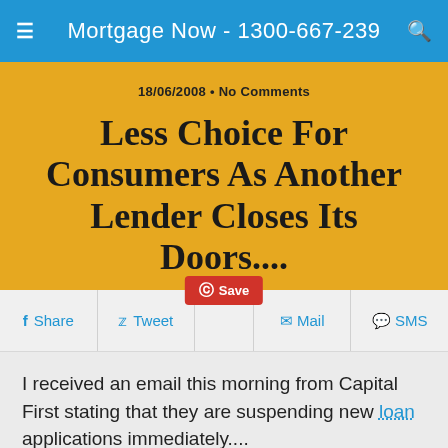Mortgage Now - 1300-667-239
18/06/2008 • No Comments
Less Choice For Consumers As Another Lender Closes Its Doors....
Share  Tweet  Save  Mail  SMS
I received an email this morning from Capital First stating that they are suspending new loan applications immediately....
I have copied the email for accuracy...